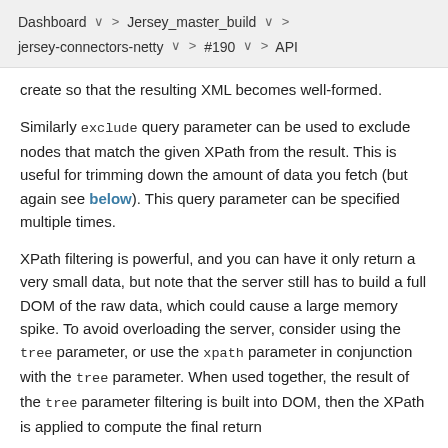Dashboard  ∨  >  Jersey_master_build  ∨  >
jersey-connectors-netty  ∨  >  #190  ∨  >  API
create so that the resulting XML becomes well-formed.
Similarly exclude query parameter can be used to exclude nodes that match the given XPath from the result. This is useful for trimming down the amount of data you fetch (but again see below). This query parameter can be specified multiple times.
XPath filtering is powerful, and you can have it only return a very small data, but note that the server still has to build a full DOM of the raw data, which could cause a large memory spike. To avoid overloading the server, consider using the tree parameter, or use the xpath parameter in conjunction with the tree parameter. When used together, the result of the tree parameter filtering is built into DOM, then the XPath is applied to compute the final return